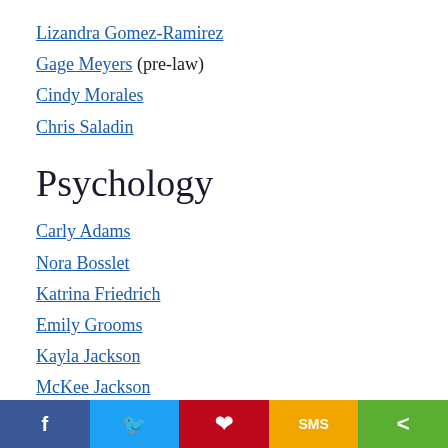Lizandra Gomez-Ramirez
Gage Meyers (pre-law)
Cindy Morales
Chris Saladin
Psychology
Carly Adams
Nora Bosslet
Katrina Friedrich
Emily Grooms
Kayla Jackson
McKee Jackson
Elizabeth Kunar